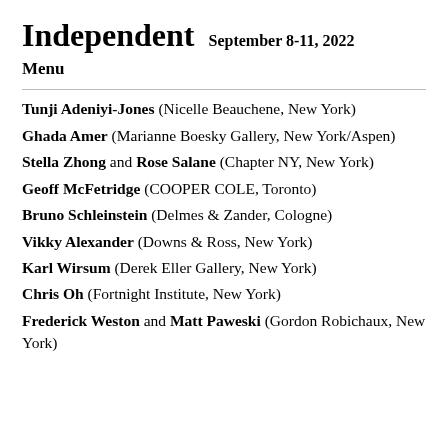Independent  September 8-11, 2022
Menu
Tunji Adeniyi-Jones (Nicelle Beauchene, New York)
Ghada Amer (Marianne Boesky Gallery, New York/Aspen)
Stella Zhong and Rose Salane (Chapter NY, New York)
Geoff McFetridge (COOPER COLE, Toronto)
Bruno Schleinstein (Delmes & Zander, Cologne)
Vikky Alexander (Downs & Ross, New York)
Karl Wirsum (Derek Eller Gallery, New York)
Chris Oh (Fortnight Institute, New York)
Frederick Weston and Matt Paweski (Gordon Robichaux, New York)